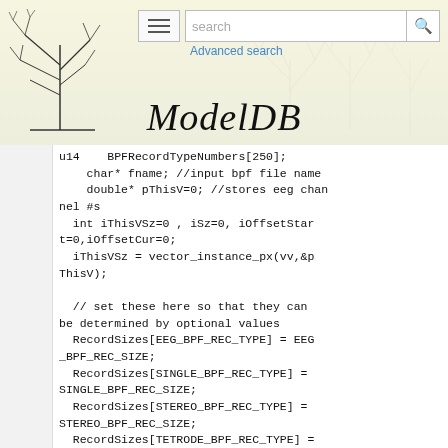ModelDB - Advanced search
u14  BPFRecordTypeNumbers[250];
    char* fname; //input bpf file name
    double* pThisV=0; //stores eeg channel #s
  int iThisVSz=0 , iSz=0, iOffsetStart=0,iOffsetCur=0;
  iThisVSz = vector_instance_px(vv,&pThisV);

  // set these here so that they can be determined by optional values
  RecordSizes[EEG_BPF_REC_TYPE] = EEG_BPF_REC_SIZE;
  RecordSizes[SINGLE_BPF_REC_TYPE] = SINGLE_BPF_REC_SIZE;
  RecordSizes[STEREO_BPF_REC_TYPE] = STEREO_BPF_REC_SIZE;
  RecordSizes[TETRODE_BPF_REC_TYPE] = TETRODE_BPF_REC_SIZE;
  RecordSizes[SYNC_BPF_REC_TYPE] = SYNC_BPF_REC_SIZE;